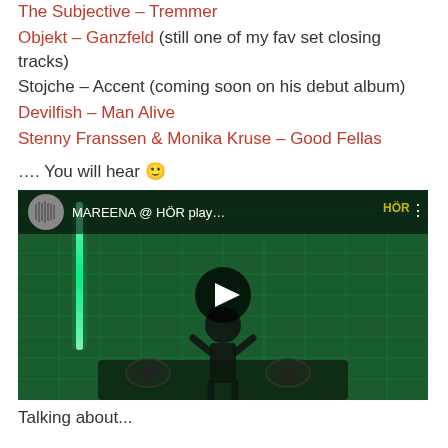The Subjective – Tremmer
Objekt – Ganzfeld (still one of my fav set closing tracks)
Stojche – Accent (coming soon on his debut album)
Devilfish – Man Alive
Stenny Franssen & Monika Kruse – Good Fellas
…. You will hear 🙂
[Figure (screenshot): YouTube video embed thumbnail showing MAREENA @ HÖR play… with a DJ in a green-lit room with turntables and a neon bar]
Talking about...